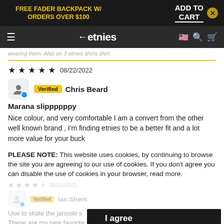FREE FADER BACKPACK W/ ORDERS OVER $100 | ADD TO CART ×
etnies navigation bar
wearing them. Also on 3 etnies shirts shirt
★★★★★ 08/22/2022
Verified Chris Beard
Marana slippppppy
Nice colour, and very comfortable I am a convert from the other well known brand , I'm finding etnies to be a better fit and a lot more value for your buck
PLEASE NOTE: This website uses cookies, by continuing to browse the site you are agreeing to our use of cookies. If you don't agree you can disable the use of cookies in your browser, read more.
Verified Ian Sherk
Use to skate the janoski s... ese even better.
These are my new favorite slip ons. They are crazy durable, look
I agree